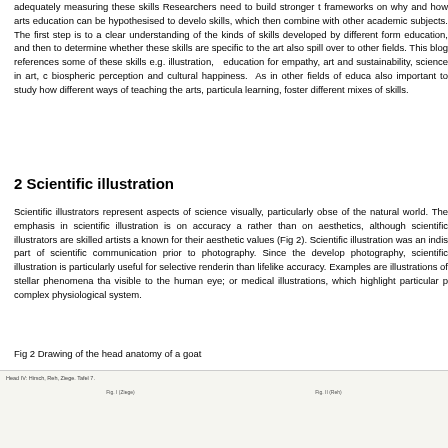adequately measuring these skills  Researchers need to build stronger theoretical frameworks on why and how arts education can be hypothesised to develop skills, which then combine with other academic subjects. The first step is to gain a clear understanding of the kinds of skills developed by different forms of education, and then to determine whether these skills are specific to the arts or also spill over to other fields. This blog references some of these skills e.g. illustration,  education for empathy, art and sustainability, science in art, or biospheric perception and cultural happiness.  As in other fields of education, also important to study how different ways of teaching the arts, particularly learning, foster different mixes of skills.
2 Scientific illustration
Scientific illustrators represent aspects of science visually, particularly observations of the natural world. The emphasis in scientific illustration is on accuracy and detail rather than on aesthetics, although scientific illustrators are skilled artists and known for their aesthetic values (Fig 2). Scientific illustration was an indispensable part of scientific communication prior to photography. Since the development of photography, scientific illustration is particularly useful for selective rendering rather than lifelike accuracy. Examples are illustrations of stellar phenomena that are not visible to the human eye; or medical illustrations, which highlight particular parts of a complex physiological system.
Fig 2 Drawing of the head anatomy of a goat
[Figure (illustration): Partial view of a scientific illustration showing the head anatomy of a goat, with small label text reading 'Head IV: Hirsch, Reh, Ziege. Tafel 7.' and figure sub-labels 'Fig. I (Ziege)' and 'Fig. II (Reh)' visible at the bottom of the cropped image.]